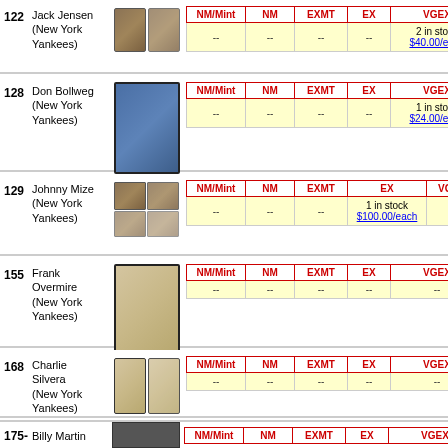| # | Player | Image | NM/Mint | NM | EXMT | EX | VGEX |
| --- | --- | --- | --- | --- | --- | --- | --- |
| 122 | Jack Jensen (New York Yankees) | [img] | -- | -- | -- | -- | 2 in stock $40.00/each |
| 128 | Don Bollweg (New York Yankees) | [img] | -- | -- | -- | -- | 1 in stock $24.00/each |
| 129 | Johnny Mize (New York Yankees) | [img] | -- | -- | -- | 1 in stock $100.00/each | -- |
| 155 | Frank Overmire (New York Yankees) | [img] | -- | -- | -- | -- | -- |
| 168 | Charlie Silvera (New York Yankees) | [img] | -- | -- | -- | -- | -- |
| 175- | Billy Martin | [img] |  |  |  |  |  |